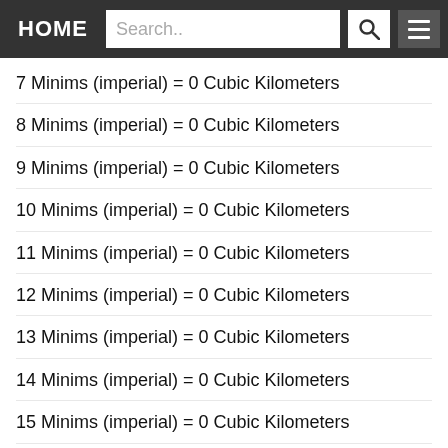HOME | Search..
7 Minims (imperial) = 0 Cubic Kilometers
8 Minims (imperial) = 0 Cubic Kilometers
9 Minims (imperial) = 0 Cubic Kilometers
10 Minims (imperial) = 0 Cubic Kilometers
11 Minims (imperial) = 0 Cubic Kilometers
12 Minims (imperial) = 0 Cubic Kilometers
13 Minims (imperial) = 0 Cubic Kilometers
14 Minims (imperial) = 0 Cubic Kilometers
15 Minims (imperial) = 0 Cubic Kilometers
16 Minims (imperial) = 0 Cubic Kilometers
17 Minims (imperial) = 0 Cubic Kilometers